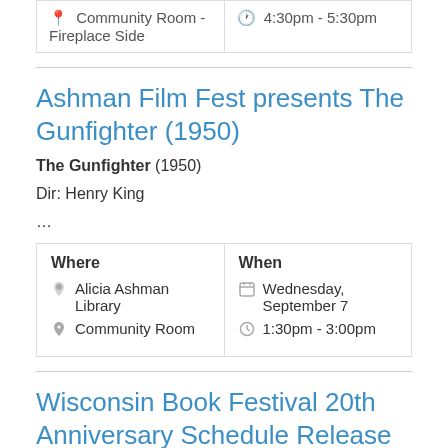| Where | When |
| --- | --- |
| 📍 Community Room - Fireplace Side | 🕐 4:30pm - 5:30pm |
Ashman Film Fest presents The Gunfighter (1950)
The Gunfighter (1950)
Dir: Henry King
…
| Where | When |
| --- | --- |
| Alicia Ashman Library
Community Room | Wednesday, September 7
1:30pm - 3:00pm |
Wisconsin Book Festival 20th Anniversary Schedule Release